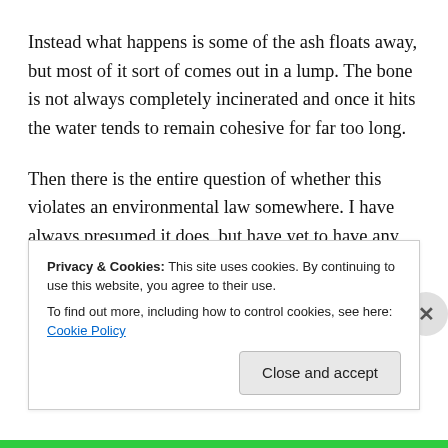Instead what happens is some of the ash floats away, but most of it sort of comes out in a lump. The bone is not always completely incinerated and once it hits the water tends to remain cohesive for far too long.
Then there is the entire question of whether this violates an environmental law somewhere. I have always presumed it does, but have yet to have any agency levy a fine for this sort of spill in Puget Sound. In fact a member of my staff reports advising a Washington State Ferry employee of the intention to distribute the ashes from the
Privacy & Cookies: This site uses cookies. By continuing to use this website, you agree to their use.
To find out more, including how to control cookies, see here: Cookie Policy